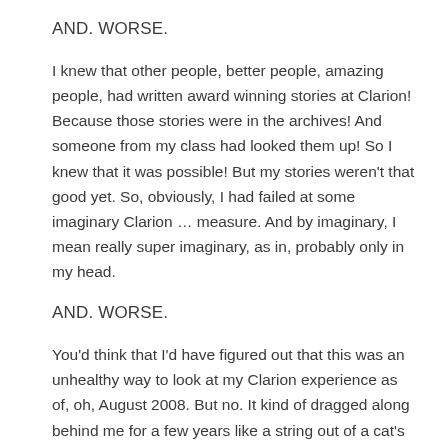AND. WORSE.
I knew that other people, better people, amazing people, had written award winning stories at Clarion! Because those stories were in the archives! And someone from my class had looked them up! So I knew that it was possible! But my stories weren't that good yet. So, obviously, I had failed at some imaginary Clarion … measure. And by imaginary, I mean really super imaginary, as in, probably only in my head.
AND. WORSE.
You'd think that I'd have figured out that this was an unhealthy way to look at my Clarion experience as of, oh, August 2008. But no. It kind of dragged along behind me for a few years like a string out of a cat's butthole.